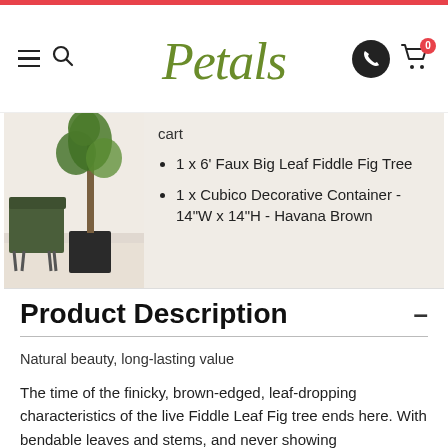Petals
[Figure (photo): A faux fiddle leaf fig tree in a dark square container next to a green chair in a white room]
cart
1 x 6' Faux Big Leaf Fiddle Fig Tree
1 x Cubico Decorative Container - 14"W x 14"H - Havana Brown
Product Description
Natural beauty, long-lasting value
The time of the finicky, brown-edged, leaf-dropping characteristics of the live Fiddle Leaf Fig tree ends here. With bendable leaves and stems, and never showing